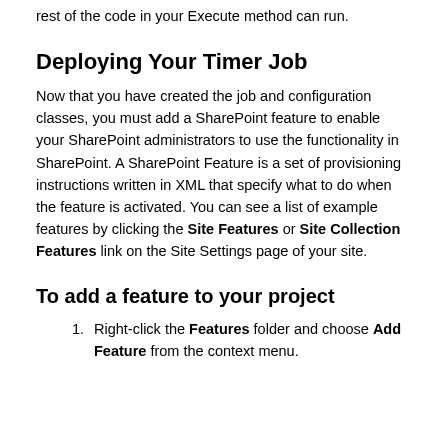rest of the code in your Execute method can run.
Deploying Your Timer Job
Now that you have created the job and configuration classes, you must add a SharePoint feature to enable your SharePoint administrators to use the functionality in SharePoint. A SharePoint Feature is a set of provisioning instructions written in XML that specify what to do when the feature is activated. You can see a list of example features by clicking the Site Features or Site Collection Features link on the Site Settings page of your site.
To add a feature to your project
Right-click the Features folder and choose Add Feature from the context menu.